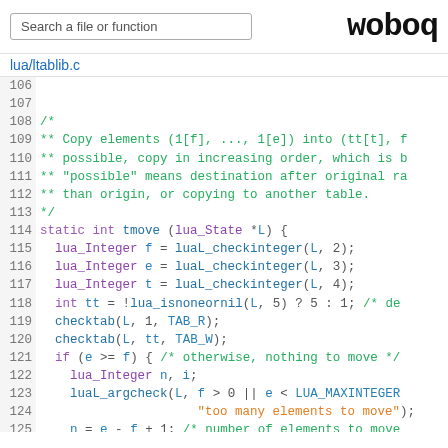Search a file or function | woboq
lua/ltablib.c
106
107
108  /*
109  ** Copy elements (1[f], ..., 1[e]) into (tt[t], ...
110  ** possible, copy in increasing order, which is b...
111  ** "possible" means destination after original ra...
112  ** than origin, or copying to another table.
113  */
114  static int tmove (lua_State *L) {
115    lua_Integer f = luaL_checkinteger(L, 2);
116    lua_Integer e = luaL_checkinteger(L, 3);
117    lua_Integer t = luaL_checkinteger(L, 4);
118    int tt = !lua_isnoneornil(L, 5) ? 5 : 1;  /* de...
119    checktab(L, 1, TAB_R);
120    checktab(L, tt, TAB_W);
121    if (e >= f) {  /* otherwise, nothing to move */
122      lua_Integer n, i;
123      luaL_argcheck(L, f > 0 || e < LUA_MAXINTEGER...
124                     "too many elements to move");
125      n = e - f + 1;  /* number of elements to move...
126      luaL_argcheck(L, t <= LUA_MAXINTEGER - n + 1,...
127                     "destination wrap around");